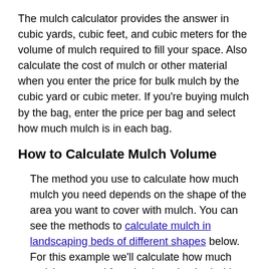The mulch calculator provides the answer in cubic yards, cubic feet, and cubic meters for the volume of mulch required to fill your space. Also calculate the cost of mulch or other material when you enter the price for bulk mulch by the cubic yard or cubic meter. If you're buying mulch by the bag, enter the price per bag and select how much mulch is in each bag.
How to Calculate Mulch Volume
The method you use to calculate how much mulch you need depends on the shape of the area you want to cover with mulch. You can see the methods to calculate mulch in landscaping beds of different shapes below. For this example we'll calculate how much mulch you need for a landscaping bed with a rectangle shape.
Anytime you fill an area with material of a certain depth you want to calculate the volume of the material. First